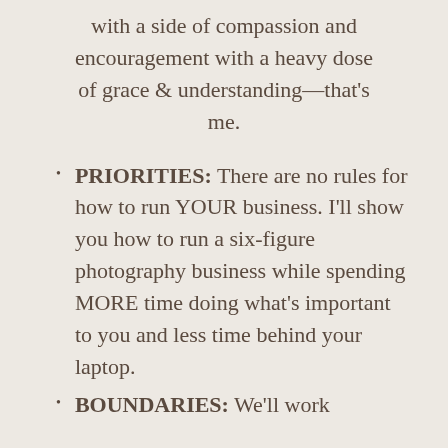with a side of compassion and encouragement with a heavy dose of grace & understanding—that's me.
PRIORITIES: There are no rules for how to run YOUR business. I'll show you how to run a six-figure photography business while spending MORE time doing what's important to you and less time behind your laptop.
BOUNDARIES: We'll work